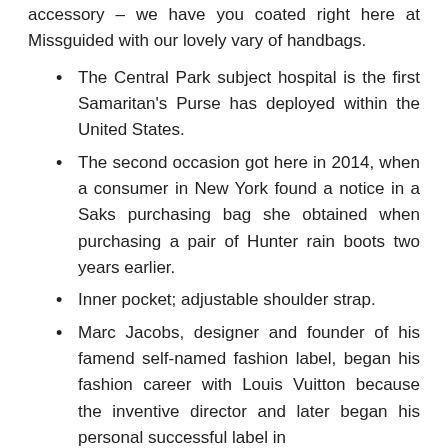accessory – we have you coated right here at Missguided with our lovely vary of handbags.
The Central Park subject hospital is the first Samaritan's Purse has deployed within the United States.
The second occasion got here in 2014, when a consumer in New York found a notice in a Saks purchasing bag she obtained when purchasing a pair of Hunter rain boots two years earlier.
Inner pocket; adjustable shoulder strap.
Marc Jacobs, designer and founder of his famend self-named fashion label, began his fashion career with Louis Vuitton because the inventive director and later began his personal successful label in